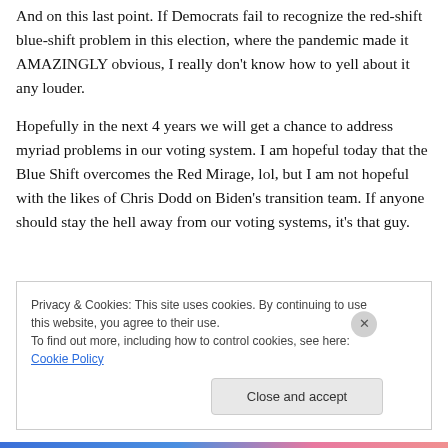And on this last point. If Democrats fail to recognize the red-shift blue-shift problem in this election, where the pandemic made it AMAZINGLY obvious, I really don't know how to yell about it any louder.
Hopefully in the next 4 years we will get a chance to address myriad problems in our voting system. I am hopeful today that the Blue Shift overcomes the Red Mirage, lol, but I am not hopeful with the likes of Chris Dodd on Biden's transition team. If anyone should stay the hell away from our voting systems, it's that guy.
Privacy & Cookies: This site uses cookies. By continuing to use this website, you agree to their use.
To find out more, including how to control cookies, see here: Cookie Policy